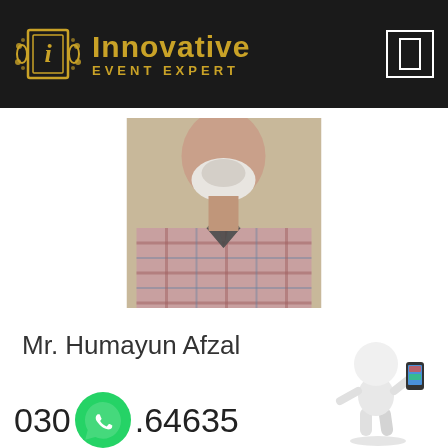[Figure (logo): Innovative Event Expert logo on black header bar with gold ornamental emblem and text, plus a small white bordered rectangle icon on the right]
[Figure (photo): Portrait photo of an older man with white beard wearing a plaid shirt, cropped at chest level]
Mr. Humayun Afzal
030[WhatsApp icon].64635
[Figure (illustration): 3D white cartoon figure holding a smartphone]